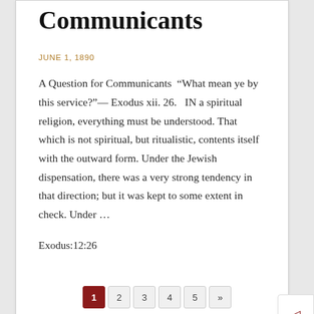Communicants
JUNE 1, 1890
A Question for Communicants “What mean ye by this service?”— Exodus xii. 26.  IN a spiritual religion, everything must be understood. That which is not spiritual, but ritualistic, contents itself with the outward form. Under the Jewish dispensation, there was a very strong tendency in that direction; but it was kept to some extent in check. Under …
Exodus:12:26